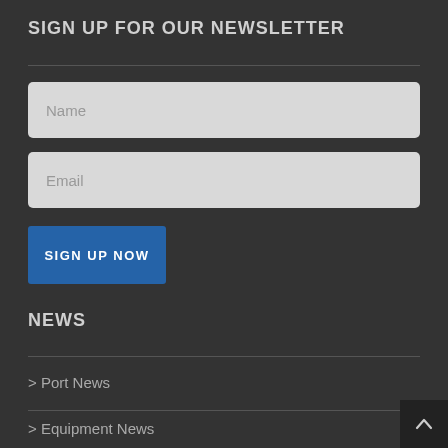SIGN UP FOR OUR NEWSLETTER
Name
Email
SIGN UP NOW
NEWS
> Port News
> Equipment News